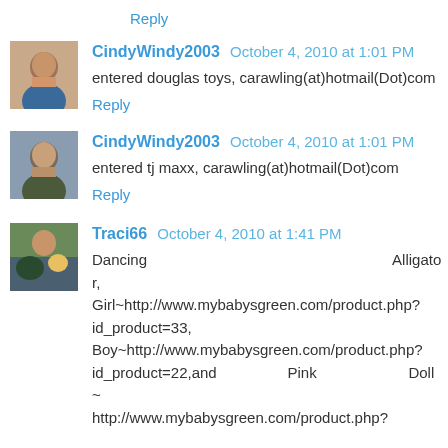Reply
CindyWindy2003  October 4, 2010 at 1:01 PM
entered douglas toys, carawling(at)hotmail(Dot)com
Reply
CindyWindy2003  October 4, 2010 at 1:01 PM
entered tj maxx, carawling(at)hotmail(Dot)com
Reply
Traci66  October 4, 2010 at 1:41 PM
Dancing Alligator, Girl~http://www.mybabysgreen.com/product.php?id_product=33, Boy~http://www.mybabysgreen.com/product.php?id_product=22,and Pink Doll~http://www.mybabysgreen.com/product.php?